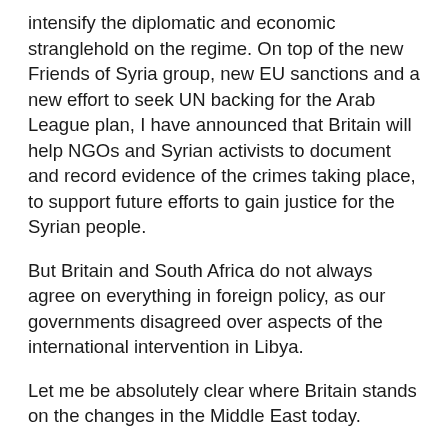intensify the diplomatic and economic stranglehold on the regime. On top of the new Friends of Syria group, new EU sanctions and a new effort to seek UN backing for the Arab League plan, I have announced that Britain will help NGOs and Syrian activists to document and record evidence of the crimes taking place, to support future efforts to gain justice for the Syrian people.
But Britain and South Africa do not always agree on everything in foreign policy, as our governments disagreed over aspects of the international intervention in Libya.
Let me be absolutely clear where Britain stands on the changes in the Middle East today.
We regard each country in the region as different. Some countries in the region are taking important and peaceful steps towards greater political and economic freedom; from Algeria to Morocco and Jordan. We respect and support their right to do so in their own way.
But we must stand up for fundamental human rights and speak our when these are abused, and when mass murder is the be done by in a more with the group and the bit. The id